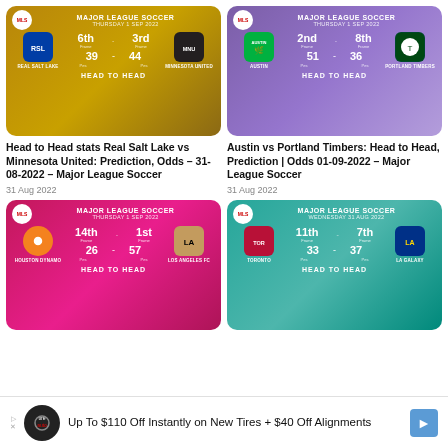[Figure (infographic): Head to Head card: Real Salt Lake vs Minnesota United, Major League Soccer, Thursday 1 Sep 2022. RSL 6th place 39pts, MNU 3rd place 44pts.]
[Figure (infographic): Head to Head card: Austin vs Portland Timbers, Major League Soccer, Thursday 1 Sep 2022. Austin 2nd place 51pts, Portland 8th place 36pts.]
Head to Head stats Real Salt Lake vs Minnesota United: Prediction, Odds – 31-08-2022 – Major League Soccer
31 Aug 2022
Austin vs Portland Timbers: Head to Head, Prediction | Odds 01-09-2022 – Major League Soccer
31 Aug 2022
[Figure (infographic): Head to Head card: Houston Dynamo vs Los Angeles FC, Major League Soccer, Thursday 1 Sep 2022. Houston 14th place 26pts, LAFC 1st place 57pts.]
[Figure (infographic): Head to Head card: Toronto vs LA Galaxy, Major League Soccer, Wednesday 31 Aug 2022. Toronto 11th place 33pts, LA Galaxy 7th place 37pts.]
[Figure (infographic): Advertisement: Up To $110 Off Instantly on New Tires + $40 Off Alignments]